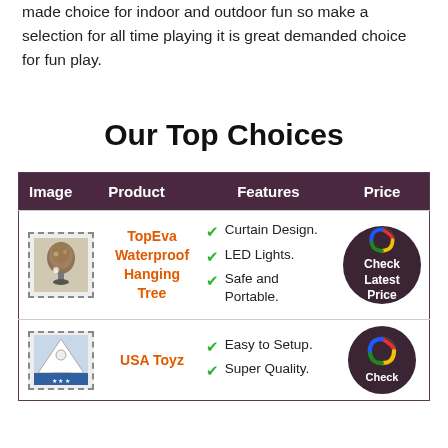made choice for indoor and outdoor fun so make a selection for all time playing it is great demanded choice for fun play.
Our Top Choices
| Image | Product | Features | Price |
| --- | --- | --- | --- |
| [image] | TopEva Waterproof Hanging Tree | ✓ Curtain Design. ✓ LED Lights. ✓ Safe and Portable. | Check Latest Price |
| [image] | USA Toyz | ✓ Easy to Setup. ✓ Super Quality. | Check |